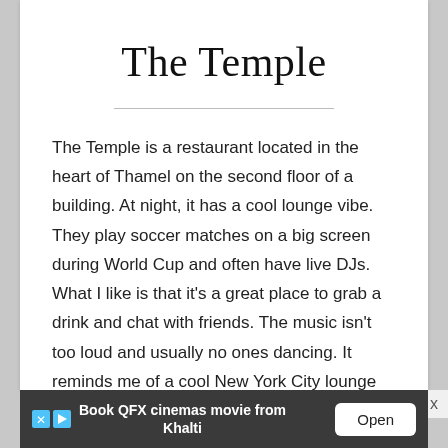The Temple
The Temple is a restaurant located in the heart of Thamel on the second floor of a building. At night, it has a cool lounge vibe. They play soccer matches on a big screen during World Cup and often have live DJs. What I like is that it’s a great place to grab a drink and chat with friends. The music isn’t too loud and usually no ones dancing. It reminds me of a cool New York City lounge and is great for
Book QFX cinemas movie from Khalti  Open